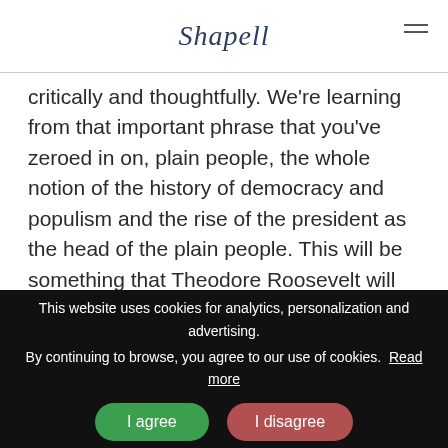Shapell
critically and thoughtfully. We're learning from that important phrase that you've zeroed in on, plain people, the whole notion of the history of democracy and populism and the rise of the president as the head of the plain people. This will be something that Theodore Roosevelt will pick up on from Abraham Lincoln. And so even just from those six lines, we've opened up a whole world.
Gil Troy:
Tell us about your second document-
This website uses cookies for analytics, personalization and advertising. By continuing to browse, you agree to our use of cookies. Read more
I agree | I disagree